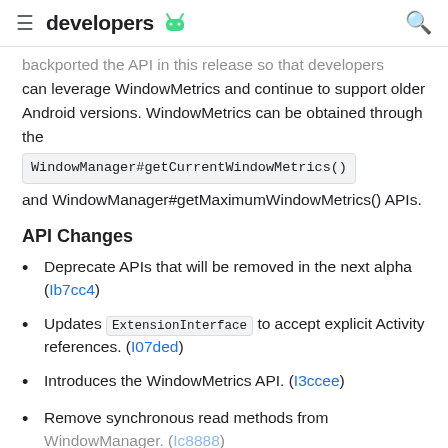≡ developers 🤖 🔍
backported the API in this release so that developers can leverage WindowMetrics and continue to support older Android versions. WindowMetrics can be obtained through the WindowManager#getCurrentWindowMetrics() and WindowManager#getMaximumWindowMetrics() APIs.
API Changes
Deprecate APIs that will be removed in the next alpha (lb7cc4)
Updates ExtensionInterface to accept explicit Activity references. (I07ded)
Introduces the WindowMetrics API. (I3ccee)
Remove synchronous read methods from WindowManager. (Ic8888)